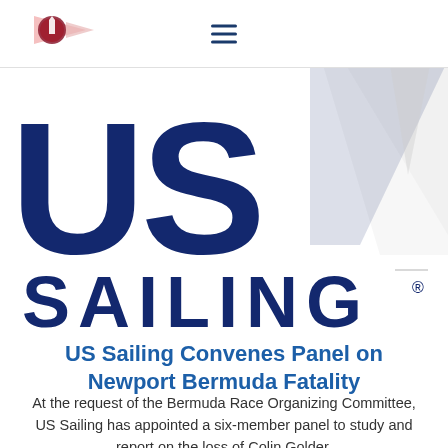[Figure (logo): US Sailing logo - large dark navy blue letters 'US' with a stylized sail shape, and 'SAILING' below, with a small emblem/burgee in the top left of the nav bar]
US Sailing Convenes Panel on Newport Bermuda Fatality
At the request of the Bermuda Race Organizing Committee, US Sailing has appointed a six-member panel to study and report on the loss of Colin Golder.